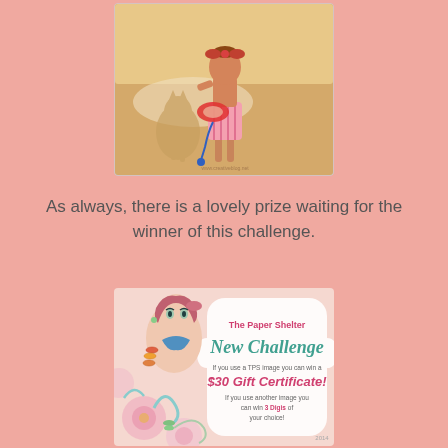[Figure (photo): A handmade craft card showing a cartoon girl in a pink striped skirt holding a red flotation ring, standing on a beach with sandy tones and a silhouette of a cat in the background.]
As always, there is a lovely prize waiting for the winner of this challenge.
[Figure (illustration): The Paper Shelter New Challenge promotional image featuring a stylized girl with bracelets and floral decorations. Text reads: 'The Paper Shelter New Challenge - If you use a TPS image you can win a $30 Gift Certificate! If you use another image you can win 3 Digis of your choice!']